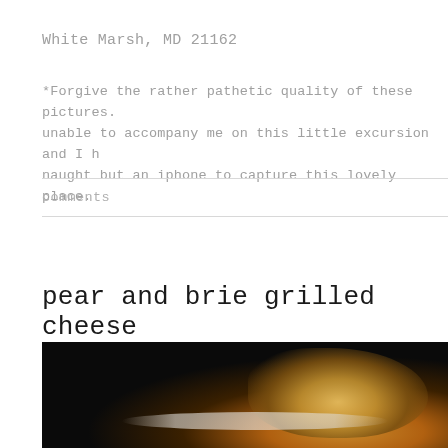White Marsh, MD 21162
*Forgive the rather pathetic quality of these pictures. My husband was unable to accompany me on this little excursion and I had naught but an iphone to capture this lovely place.
comments
pear and brie grilled cheese
[Figure (photo): Close-up photograph of a grilled cheese sandwich, showing golden-brown toasted bread with melted filling, against a dark/black background with a white plate barely visible below.]